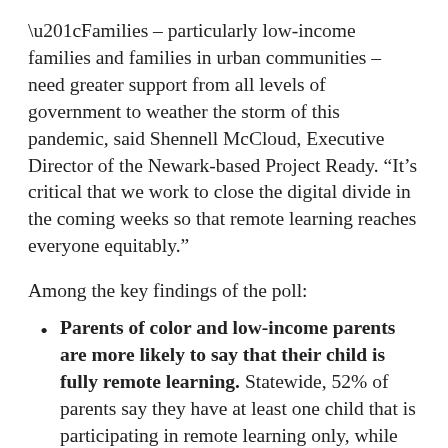“Families – particularly low-income families and families in urban communities – need greater support from all levels of government to weather the storm of this pandemic, said Shennell McCloud, Executive Director of the Newark-based Project Ready. “It’s critical that we work to close the digital divide in the coming weeks so that remote learning reaches everyone equitably.”
Among the key findings of the poll:
Parents of color and low-income parents are more likely to say that their child is fully remote learning. Statewide, 52% of parents say they have at least one child that is participating in remote learning only, while 45% are participating in hybrid in-person and